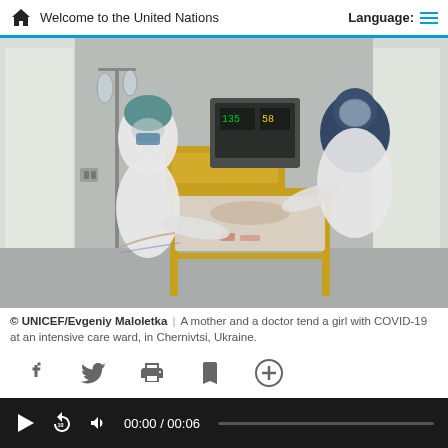Welcome to the United Nations   Language:
[Figure (photo): A mother wearing a surgical mask and hair cover and a doctor in full PPE (white protective suit, blue gown, face shield, mask) tend a young girl lying in a hospital bed with a yellow metal frame. Medical monitor equipment visible in background. ICU ward setting.]
© UNICEF/Evgeniy Maloletka | A mother and a doctor tend a girl with COVID-19 at an intensive care ward, in Chernivtsi, Ukraine.
[Figure (infographic): Social sharing icons: Facebook (f), Twitter (bird), Print (printer), Bookmark (bookmark ribbon), Add/Plus (circle with plus sign)]
[Figure (screenshot): Video player controls bar: play button, rewind 10 seconds button, volume button, time display 00:00 / 00:06, progress bar]